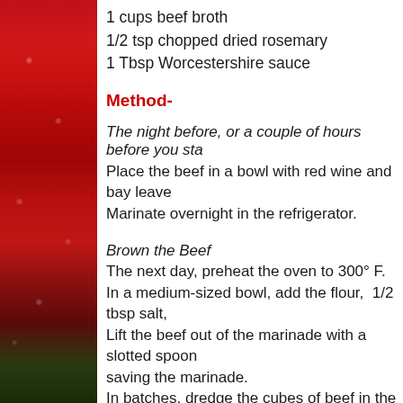1 cups beef broth
1/2 tsp chopped dried rosemary
1 Tbsp Worcestershire sauce
Method-
The night before, or a couple of hours before you sta
Place the beef in a bowl with red wine and bay leave
Marinate overnight in the refrigerator.
Brown the Beef
The next day, preheat the oven to 300° F.
In a medium-sized bowl, add the flour,  1/2 tbsp salt,
Lift the beef out of the marinade with a slotted spoon saving the marinade.
In batches, dredge the cubes of beef in the flour mix excess.
Heat a glug of olive oil in a large pot and brown b